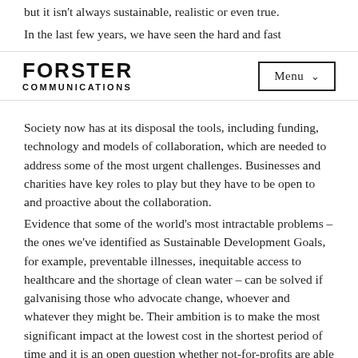but it isn't always sustainable, realistic or even true.
In the last few years, we have seen the hard and fast
FORSTER COMMUNICATIONS | Menu
Society now has at its disposal the tools, including funding, technology and models of collaboration, which are needed to address some of the most urgent challenges. Businesses and charities have key roles to play but they have to be open to and proactive about the collaboration.
Evidence that some of the world's most intractable problems – the ones we've identified as Sustainable Development Goals, for example, preventable illnesses, inequitable access to healthcare and the shortage of clean water – can be solved if galvanising those who advocate change, whoever and whatever they might be. Their ambition is to make the most significant impact at the lowest cost in the shortest period of time and it is an open question whether not-for-profits are able or willing to embrace the entrepreneurial spirit that is needed to meet these aspirations.